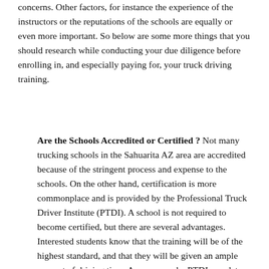concerns. Other factors, for instance the experience of the instructors or the reputations of the schools are equally or even more important. So below are some more things that you should research while conducting your due diligence before enrolling in, and especially paying for, your truck driving training.
Are the Schools Accredited or Certified ? Not many trucking schools in the Sahuarita AZ area are accredited because of the stringent process and expense to the schools. On the other hand, certification is more commonplace and is provided by the Professional Truck Driver Institute (PTDI). A school is not required to become certified, but there are several advantages. Interested students know that the training will be of the highest standard, and that they will be given an ample amount of driving time. As an example, PTDI mandates 44 hours of real driving time, not ride-alongs or simulations. Certified schools are re-certified (the